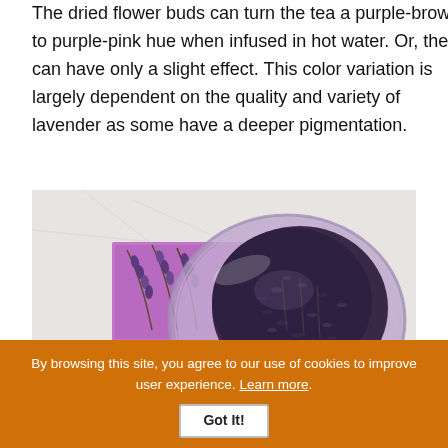The dried flower buds can turn the tea a purple-brown to purple-pink hue when infused in hot water. Or, they can have only a slight effect. This color variation is largely dependent on the quality and variety of lavender as some have a deeper pigmentation.
[Figure (photo): Photo of dried lavender buds piled in a purple/lavender glass plate, with lavender sprigs and a purple card on a marble surface.]
By browsing this site, you agree to our use of cookies to improve user experience. Learn more. Got It!